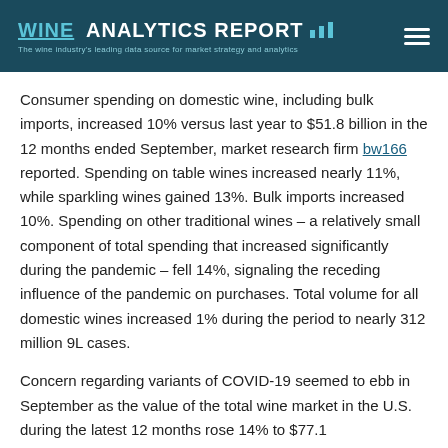WINE ANALYTICS REPORT — The wine industry's leading data source for market strategy and analytics
Consumer spending on domestic wine, including bulk imports, increased 10% versus last year to $51.8 billion in the 12 months ended September, market research firm bw166 reported. Spending on table wines increased nearly 11%, while sparkling wines gained 13%. Bulk imports increased 10%. Spending on other traditional wines – a relatively small component of total spending that increased significantly during the pandemic – fell 14%, signaling the receding influence of the pandemic on purchases. Total volume for all domestic wines increased 1% during the period to nearly 312 million 9L cases.
Concern regarding variants of COVID-19 seemed to ebb in September as the value of the total wine market in the U.S. during the latest 12 months rose 14% to $77.1